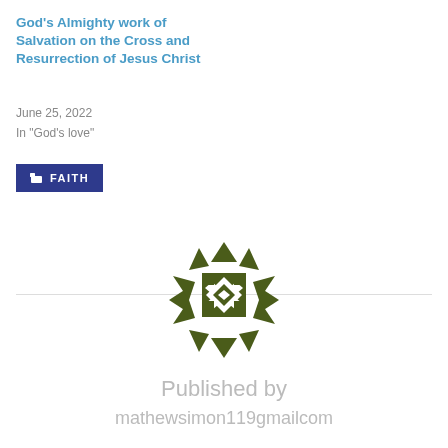God's Almighty work of Salvation on the Cross and Resurrection of Jesus Christ
June 25, 2022
In "God's love"
FAITH
[Figure (logo): Dark olive green circular decorative medallion logo with geometric diamond and triangle patterns arranged symmetrically]
Published by
mathewsimon119gmailcom